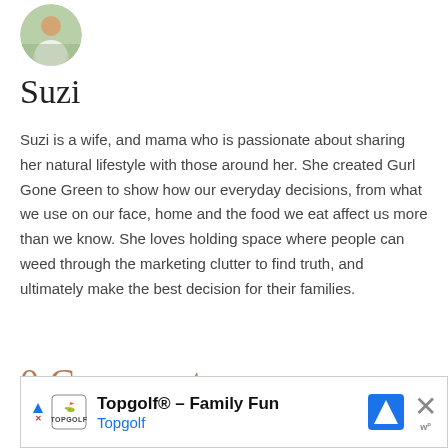[Figure (photo): Circular avatar photo of Suzi, a woman in a white shirt outdoors]
Suzi
Suzi is a wife, and mama who is passionate about sharing her natural lifestyle with those around her. She created Gurl Gone Green to show how our everyday decisions, from what we use on our face, home and the food we eat affect us more than we know. She loves holding space where people can weed through the marketing clutter to find truth, and ultimately make the best decision for their families.
0 Comments
[Figure (screenshot): Advertisement banner: Topgolf® - Family Fun, with Topgolf logo, navigation icon, close button]